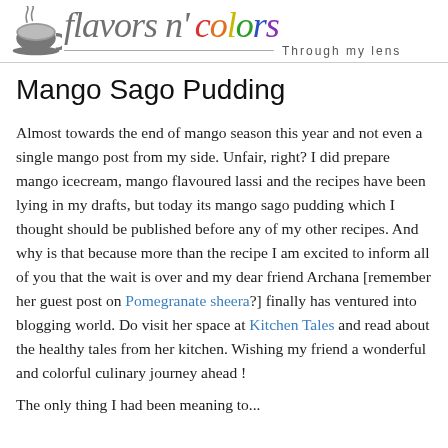flavors n' colors — Through my lens
Mango Sago Pudding
Almost towards the end of mango season this year and not even a single mango post from my side. Unfair, right? I did prepare mango icecream, mango flavoured lassi and the recipes have been lying in my drafts, but today its mango sago pudding which I thought should be published before any of my other recipes. And why is that because more than the recipe I am excited to inform all of you that the wait is over and my dear friend Archana [remember her guest post on Pomegranate sheera?] finally has ventured into blogging world. Do visit her space at Kitchen Tales and read about the healthy tales from her kitchen. Wishing my friend a wonderful and colorful culinary journey ahead !